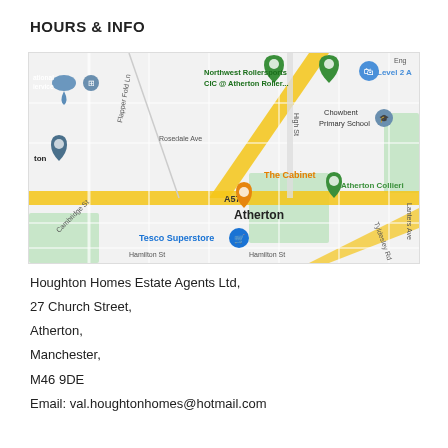HOURS & INFO
[Figure (map): Google Maps view of Atherton area showing Northwest Rollersports CIC @ Atherton Roller..., Chowbent Primary School, The Cabinet, Tesco Superstore, Atherton Collieries, A577 road, Tyldesley Road, Cambridge St, Hamilton St, and surrounding streets.]
Houghton Homes Estate Agents Ltd,
27 Church Street,
Atherton,
Manchester,
M46 9DE
Email: val.houghtonhomes@hotmail.com